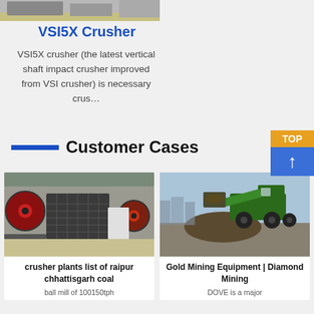[Figure (photo): Top partial view of industrial machinery (VSI5X Crusher equipment)]
VSI5X Crusher
VSI5X crusher (the latest vertical shaft impact crusher improved from VSI crusher) is necessary crus…
Customer Cases
[Figure (photo): Industrial crusher plant equipment with large red and black machinery in a warehouse]
crusher plants list of raipur chhattisgarh coal
ball mill of 100150tph
[Figure (photo): Gold mining equipment - green loader/excavator moving dirt/gravel on a worksite]
Gold Mining Equipment | Diamond Mining
DOVE is a major